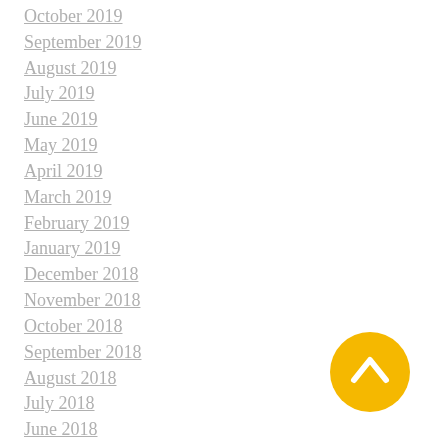October 2019
September 2019
August 2019
July 2019
June 2019
May 2019
April 2019
March 2019
February 2019
January 2019
December 2018
November 2018
October 2018
September 2018
August 2018
July 2018
June 2018
May 2018
April 2018
[Figure (illustration): Yellow circular back-to-top button with upward chevron arrow icon]